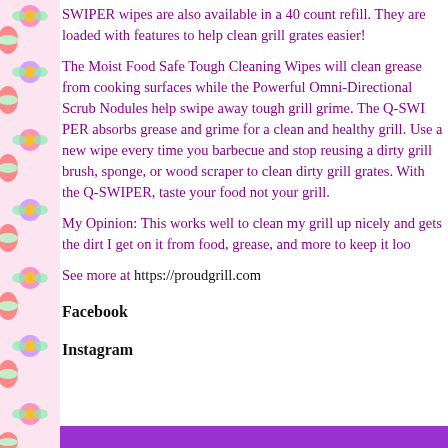SWIPER wipes are also available in a 40 count refill. They are loaded with features to help clean grill grates easier!
The Moist Food Safe Tough Cleaning Wipes will clean grease from cooking surfaces while the Powerful Omni-Directional Scrub Nodules help swipe away tough grill grime. The Q-SWIPER absorbs grease and grime for a clean and healthy grill. Use a new wipe every time you barbecue and stop reusing a dirty grill brush, sponge, or wood scraper to clean dirty grill grates. With the Q-SWIPER, taste your food not your grill.
My Opinion: This works well to clean my grill up nicely and gets the dirt I get on it from food, grease, and more to keep it loo
See more at https://proudgrill.com
Facebook
Instagram